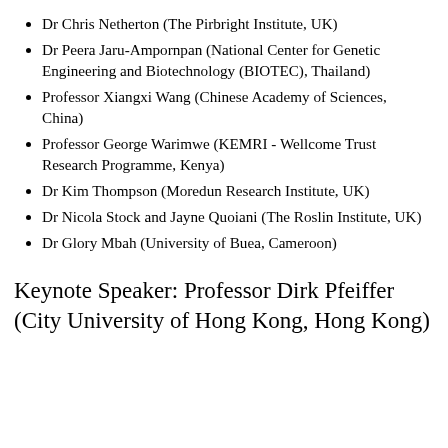Dr Chris Netherton (The Pirbright Institute, UK)
Dr Peera Jaru-Ampornpan (National Center for Genetic Engineering and Biotechnology (BIOTEC), Thailand)
Professor Xiangxi Wang (Chinese Academy of Sciences, China)
Professor George Warimwe (KEMRI - Wellcome Trust Research Programme, Kenya)
Dr Kim Thompson (Moredun Research Institute, UK)
Dr Nicola Stock and Jayne Quoiani (The Roslin Institute, UK)
Dr Glory Mbah (University of Buea, Cameroon)
Keynote Speaker: Professor Dirk Pfeiffer (City University of Hong Kong, Hong Kong)